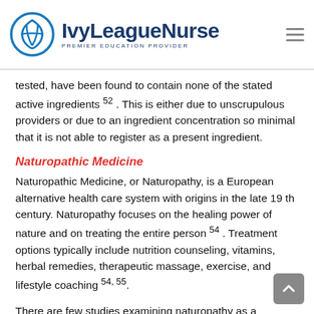IvyLeagueNurse — PREMIER EDUCATION PROVIDER
tested, have been found to contain none of the stated active ingredients 52 . This is either due to unscrupulous providers or due to an ingredient concentration so minimal that it is not able to register as a present ingredient.
Naturopathic Medicine
Naturopathic Medicine, or Naturopathy, is a European alternative health care system with origins in the late 19 th century. Naturopathy focuses on the healing power of nature and on treating the entire person 54 . Treatment options typically include nutrition counseling, vitamins, herbal remedies, therapeutic massage, exercise, and lifestyle coaching 54, 55 .
There are few studies examining naturopathy as a comprehensive practice 54 . Individual components of